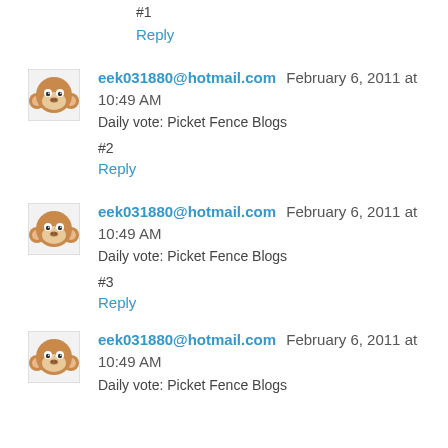#1
Reply
eek031880@hotmail.com February 6, 2011 at 10:49 AM
Daily vote: Picket Fence Blogs
#2
Reply
eek031880@hotmail.com February 6, 2011 at 10:49 AM
Daily vote: Picket Fence Blogs
#3
Reply
eek031880@hotmail.com February 6, 2011 at 10:49 AM
Daily vote: Picket Fence Blogs